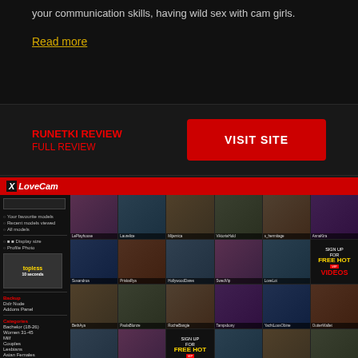your communication skills, having wild sex with cam girls.
Read more
RUNETKI REVIEW
FULL REVIEW
VISIT SITE
[Figure (screenshot): XLoveCam website screenshot showing a webcam site with a red header, left sidebar with navigation and categories, and a grid of model thumbnails. Several cells show 'SIGN UP FOR FREE HOT VIP VIDEOS' promotional banners. Bottom right shows SCORE label in red.]